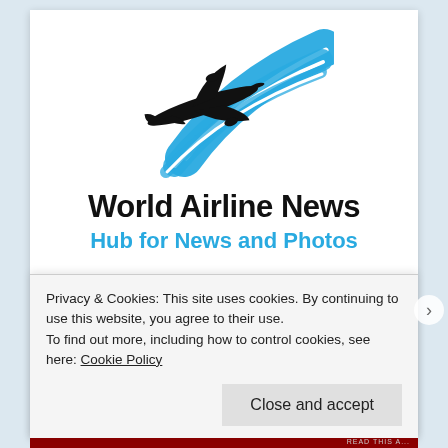[Figure (logo): World Airline News logo: black airplane silhouette with blue swoosh speed lines]
World Airline News
Hub for News and Photos
Privacy & Cookies: This site uses cookies. By continuing to use this website, you agree to their use.
To find out more, including how to control cookies, see here: Cookie Policy
Close and accept